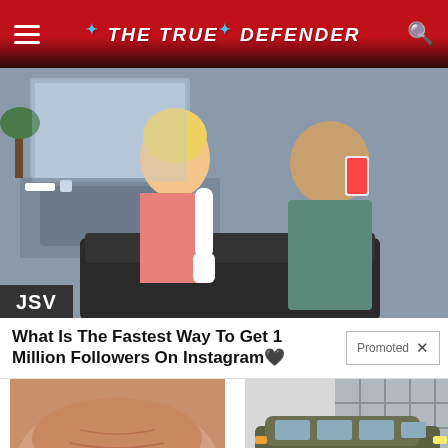THE TRUE DEFENDER
[Figure (photo): Two people taking a mirror selfie in what appears to be a salon or bathroom setting. A woman with blonde hair in a pink outfit with white gloves and a man in a teal long-sleeve shirt. A JSV badge is overlaid in the bottom left corner.]
What Is The Fastest Way To Get 1 Million Followers On Instagram🖤
Promoted  ×
[Figure (photo): Close-up photo of a person's midsection showing belly fat, in white underwear.]
A Teaspoon On An Empty Stomach Burns Fat Like Crazy!
🔥 11,291
[Figure (photo): A dark olive/green 2022 SUV parked in front of a building with large windows.]
See The New 2022 SUVs Everybody Is Talking About
🔥 13,433